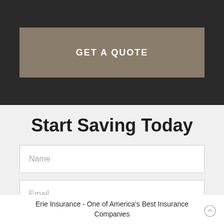[Figure (other): Dark navigation bar with a tan/khaki 'GET A QUOTE' button]
Start Saving Today
Name
Email
Erie Insurance - One of America's Best Insurance Companies